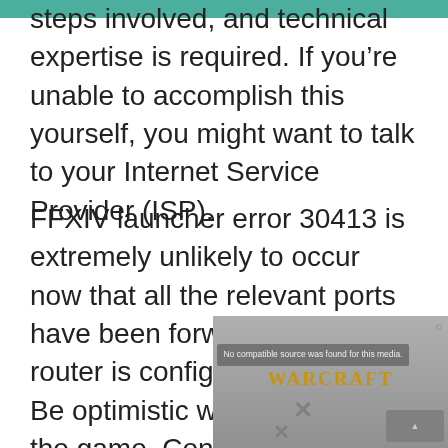steps involved, and technical expertise is required. If you're unable to accomplish this yourself, you might want to talk to your Internet Service Provider (ISP).
FFXIV launcher error 30413 is extremely unlikely to occur now that all the relevant ports have been forwarded and your router is configured properly. Be optimistic when you start the game. Continue downloading the remaining files. The following solutions should help if you still can't download patch files.
[Figure (screenshot): Partially visible video overlay showing 'No compatible source was found for this media.' message with a gray play button control, overlaid on a World of Warcraft logo background. A close (X) button is visible in the top-right corner of the overlay.]